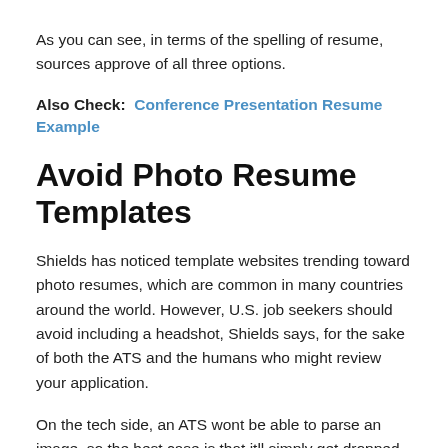As you can see, in terms of the spelling of resume, sources approve of all three options.
Also Check:  Conference Presentation Resume Example
Avoid Photo Resume Templates
Shields has noticed template websites trending toward photo resumes, which are common in many countries around the world. However, U.S. job seekers should avoid including a headshot, Shields says, for the sake of both the ATS and the humans who might review your application.
On the tech side, an ATS wont be able to parse an image, so the best case is that itll simply get dropped when the system is creating your digital profile. But the more concerning